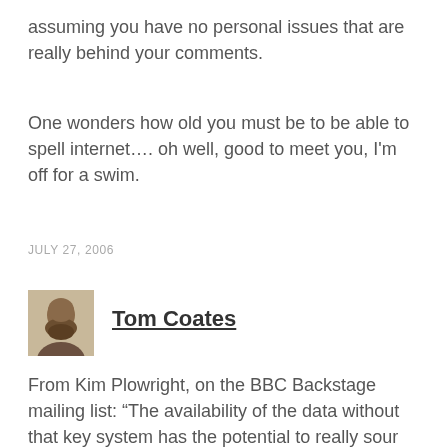assuming you have no personal issues that are really behind your comments.
One wonders how old you must be to be able to spell internet…. oh well, good to meet you, I'm off for a swim.
JULY 27, 2006
[Figure (photo): Avatar photo of Tom Coates, a bearded man]
Tom Coates
From Kim Plowright, on the BBC Backstage mailing list: “The availability of the data without that key system has the potential to really sour the BBC’s relationship with the Met Office. It may well make negotiating further data releases really hard, both internally and with other BBC